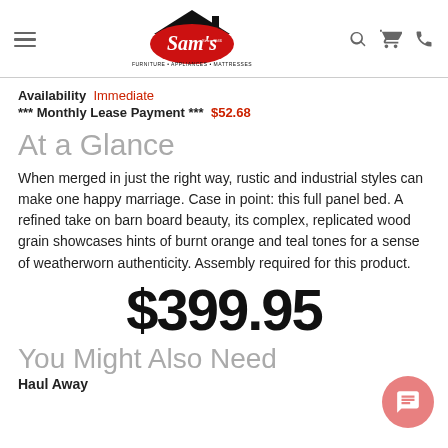[Figure (logo): Sam's Furniture · Appliances · Mattresses logo in red and black]
Availability  Immediate
*** Monthly Lease Payment ***  $52.68
At a Glance
When merged in just the right way, rustic and industrial styles can make one happy marriage. Case in point: this full panel bed. A refined take on barn board beauty, its complex, replicated wood grain showcases hints of burnt orange and teal tones for a sense of weatherworn authenticity. Assembly required for this product.
$399.95
You Might Also Need
Haul Away